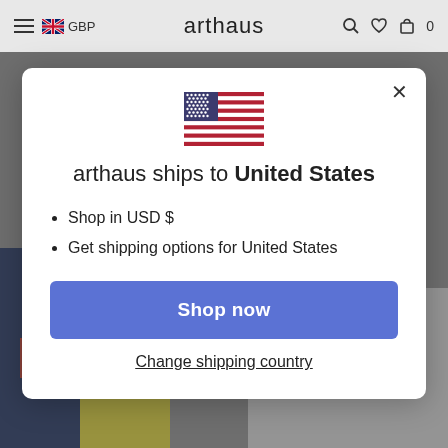≡ GBP   arthaus   🔍 ♡ 🛍 0
[Figure (screenshot): Arthaus e-commerce website header with hamburger menu, UK flag GBP currency selector, arthaus logo in center, and search/wishlist/bag icons with 0 count on right. Below header is a background showing artwork images partially visible.]
arthaus ships to United States
Shop in USD $
Get shipping options for United States
Shop now
Change shipping country